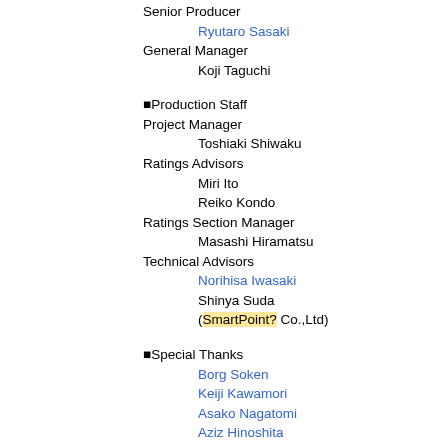Senior Producer
Ryutaro Sasaki
General Manager
Koji Taguchi
■Production Staff
Project Manager
Toshiaki Shiwaku
Ratings Advisors
Miri Ito
Reiko Kondo
Ratings Section Manager
Masashi Hiramatsu
Technical Advisors
Norihisa Iwasaki
Shinya Suda
(SmartPoint? Co.,Ltd)
■Special Thanks
Borg Soken
Keiji Kawamori
Asako Nagatomi
Aziz Hinoshita
Associate Producer
Kaori Ochi